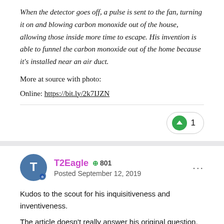When the detector goes off, a pulse is sent to the fan, turning it on and blowing carbon monoxide out of the house, allowing those inside more time to escape. His invention is able to funnel the carbon monoxide out of the home because it's installed near an air duct.
More at source with photo:
Online: https://bit.ly/2k7IJZN
T2Eagle  +801
Posted September 12, 2019
Kudos to the scout for his inquisitiveness and inventiveness.
The article doesn't really answer his original question, why doesn't the house activate a fan when there's a build up of CO. Because someone else thought of that already.